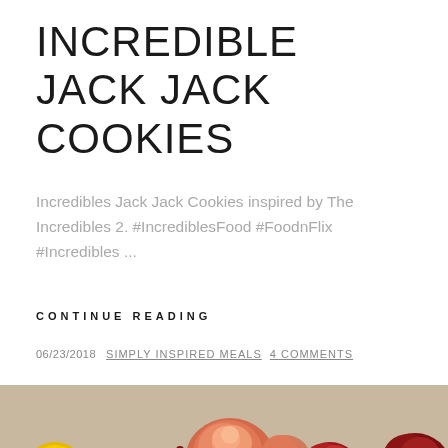INCREDIBLE JACK JACK COOKIES
Incredibles Jack Jack Cookies inspired by The Incredibles 2. #IncrediblesFood #FoodnFlix #Incredibles ...
CONTINUE READING
06/23/2018  SIMPLY INSPIRED MEALS  4 COMMENTS
[Figure (photo): Photo of colorful flower arrangements including yellow, orange, red roses and other flowers on a light background]